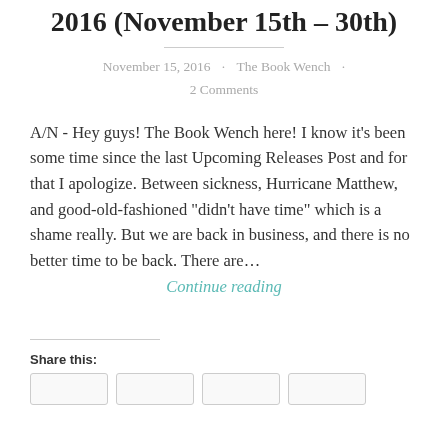2016 (November 15th – 30th)
November 15, 2016 · The Book Wench · 2 Comments
A/N - Hey guys! The Book Wench here! I know it's been some time since the last Upcoming Releases Post and for that I apologize. Between sickness, Hurricane Matthew, and good-old-fashioned "didn't have time" which is a shame really. But we are back in business, and there is no better time to be back. There are…
Continue reading
Share this: